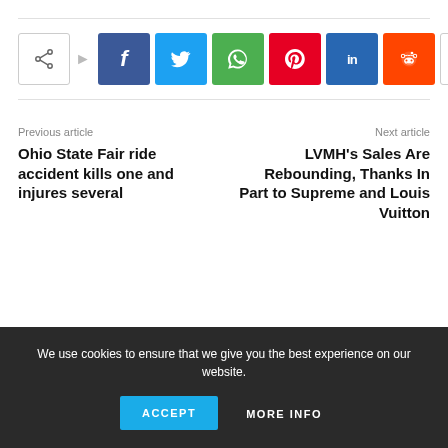[Figure (other): Social share buttons row: share icon, Facebook, Twitter, WhatsApp, Pinterest, LinkedIn, Reddit, more (+)]
Previous article
Ohio State Fair ride accident kills one and injures several
Next article
LVMH's Sales Are Rebounding, Thanks In Part to Supreme and Louis Vuitton
We use cookies to ensure that we give you the best experience on our website.
ACCEPT   MORE INFO